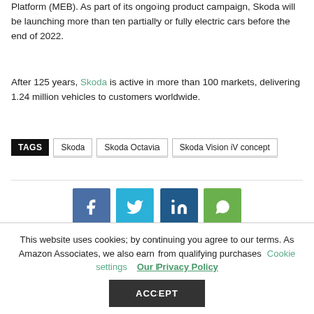Platform (MEB). As part of its ongoing product campaign, Skoda will be launching more than ten partially or fully electric cars before the end of 2022.
After 125 years, Skoda is active in more than 100 markets, delivering 1.24 million vehicles to customers worldwide.
TAGS  Skoda  Skoda Octavia  Skoda Vision iV concept
[Figure (other): Social share buttons: Facebook, Twitter, LinkedIn, WhatsApp]
This website uses cookies; by continuing you agree to our terms. As Amazon Associates, we also earn from qualifying purchases  Cookie settings  Our Privacy Policy  ACCEPT